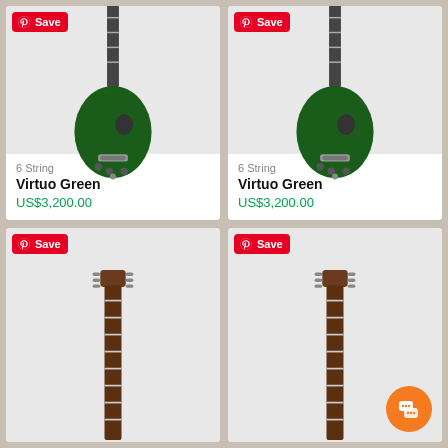[Figure (photo): Green electric guitar (Virtuo Green, 6 String) on light grey background with Pinterest Save button top-left]
6 String
Virtuo Green
US$3,200.00
[Figure (photo): Green electric guitar (Virtuo Green, 6 String) on light grey background with Pinterest Save button top-left]
6 String
Virtuo Green
US$3,200.00
[Figure (photo): Partial view of a brown/red guitar neck and headstock on light grey background with Pinterest Save button top-left]
[Figure (photo): Partial view of a brown/red guitar neck and headstock on light grey background with Pinterest Save button top-left and chat button bottom-right]